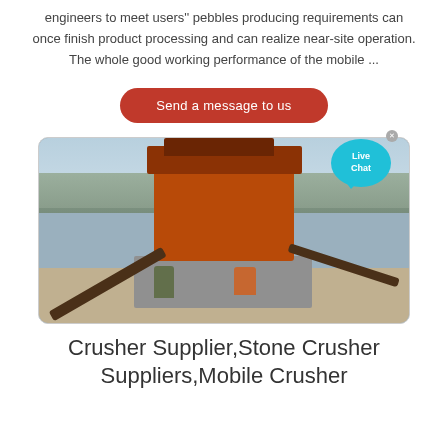engineers to meet users'' pebbles producing requirements can once finish product processing and can realize near-site operation. The whole good working performance of the mobile ...
Send a message to us
[Figure (photo): Outdoor industrial stone crusher machine on a concrete platform with conveyor belts, workers visible at base, trees in background.]
Crusher Supplier,Stone Crusher Suppliers,Mobile Crusher